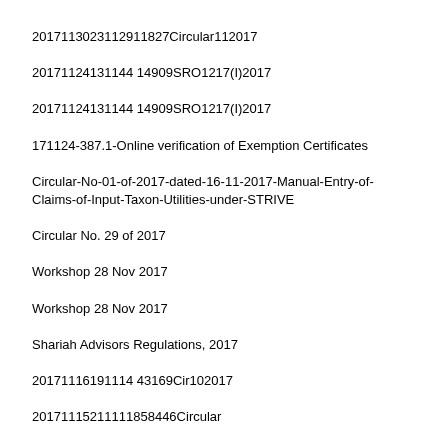20171130231129 11827Circular112017
20171124131144 14909SRO1217(I)2017
20171124131144 14909SRO1217(I)2017
171124-387.1-Online verification of Exemption Certificates
Circular-No-01-of-2017-dated-16-11-2017-Manual-Entry-of-Claims-of-Input-Taxon-Utilities-under-STRIVE
Circular No. 29 of 2017
Workshop 28 Nov 2017
Workshop 28 Nov 2017
Shariah Advisors Regulations, 2017
20171116191144 3169Cir102017
20171115211118 58446Circular